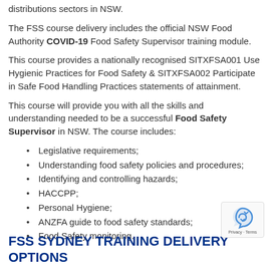distributions sectors in NSW.
The FSS course delivery includes the official NSW Food Authority COVID-19 Food Safety Supervisor training module.
This course provides a nationally recognised SITXFSA001 Use Hygienic Practices for Food Safety & SITXFSA002 Participate in Safe Food Handling Practices statements of attainment.
This course will provide you with all the skills and understanding needed to be a successful Food Safety Supervisor in NSW. The course includes:
Legislative requirements;
Understanding food safety policies and procedures;
Identifying and controlling hazards;
HACCPP;
Personal Hygiene;
ANZFA guide to food safety standards;
Food Safety monitoring.
FSS SYDNEY TRAINING DELIVERY OPTIONS